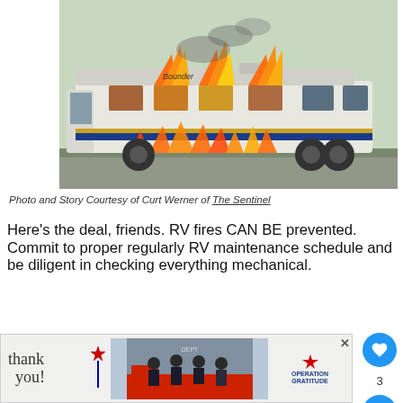[Figure (photo): A Bounder RV motorhome engulfed in flames, with fire visible through windows and around the undercarriage, parked on a road.]
Photo and Story Courtesy of Curt Werner of The Sentinel
Here’s the deal, friends. RV fires CAN BE prevented. Commit to proper regularly RV maintenance schedule and be diligent in checking everything mechanical.
[Figure (photo): Advertisement banner: Operation Gratitude thank you ad with firefighters photo]